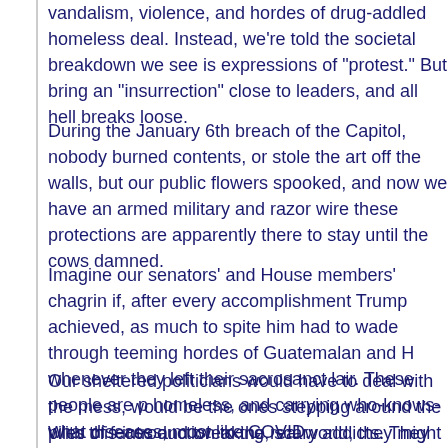vandalism, violence, and hordes of drug-addled homeless deal. Instead, we're told the societal breakdown we see is expressions of "protest." But bring an "insurrection" close to leaders, and all hell breaks loose.
During the January 6th breach of the Capitol, nobody burned contents, or stole the art off the walls, but our public flowers spooked, and now we have an armed military and razor wire these protections are apparently there to stay until the cows damned.
Imagine our senators' and House members' chagrin if, after every accomplishment Trump achieved, as much to spite him had to wade through teeming hordes of Guatemalan and Honduran whenever they left their sacrosanct lair. These people are poor, homeless, and carrying who-knows-what diseases, most likely COVID.
Our sheltered politicians would have to deal with the mess, would be the ones stepping around the piles of feces and crack tweaking, scary addicts. They would see rats run from one next. They, not ordinary people, would fear for their lives as
With this introduction to the real world, they might think twice cartels to move massive amounts of Chinese oxycontin into twice about releasing the refugee hordes.